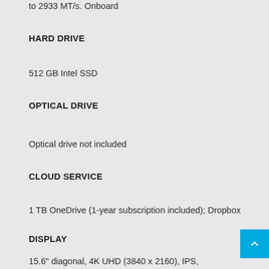to 2933 MT/s. Onboard
HARD DRIVE
512 GB Intel SSD
OPTICAL DRIVE
Optical drive not included
CLOUD SERVICE
1 TB OneDrive (1-year subscription included); Dropbox
DISPLAY
15.6" diagonal, 4K UHD (3840 x 2160), IPS, micro-edge, anti-glare, 340 nits, 72% NTSC